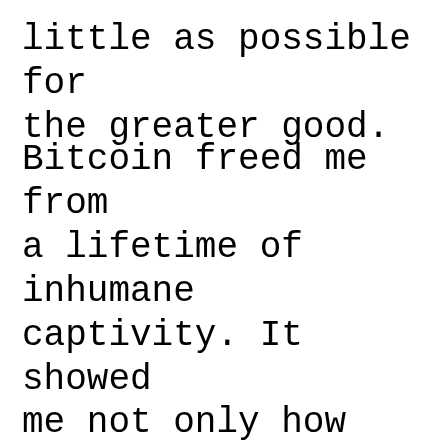little as possible for the greater good.
Bitcoin freed me from a lifetime of inhumane captivity. It showed me not only how money works in actuality, (not the fake stuff they call the US dollar or Euro), but the simplicity in the notion that honest